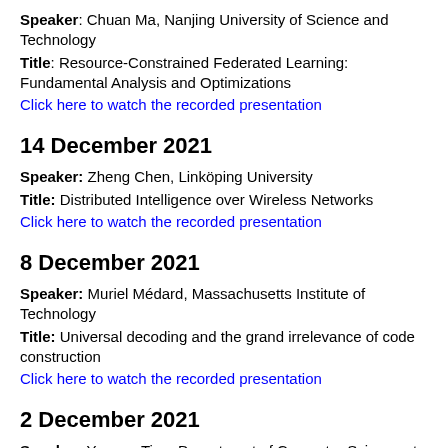Speaker: Chuan Ma, Nanjing University of Science and Technology
Title: Resource-Constrained Federated Learning: Fundamental Analysis and Optimizations
Click here to watch the recorded presentation
14 December 2021
Speaker: Zheng Chen, Linköping University
Title: Distributed Intelligence over Wireless Networks
Click here to watch the recorded presentation
8 December 2021
Speaker: Muriel Médard, Massachusetts Institute of Technology
Title: Universal decoding and the grand irrelevance of code construction
Click here to watch the recorded presentation
2 December 2021
Speaker: Yanong Tian, Department of Computer Science at the